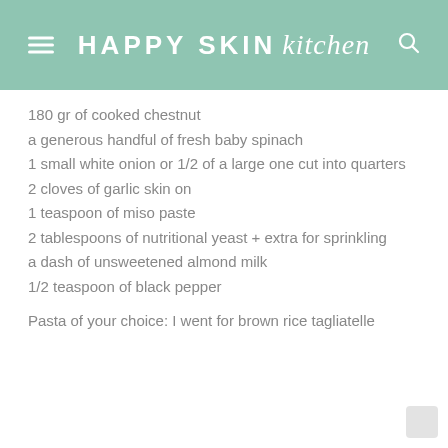HAPPY SKIN kitchen
180 gr of cooked chestnut
a generous handful of fresh baby spinach
1 small white onion or 1/2 of a large one cut into quarters
2 cloves of garlic skin on
1 teaspoon of miso paste
2 tablespoons of nutritional yeast + extra for sprinkling
a dash of unsweetened almond milk
1/2 teaspoon of black pepper
Pasta of your choice: I went for brown rice tagliatelle